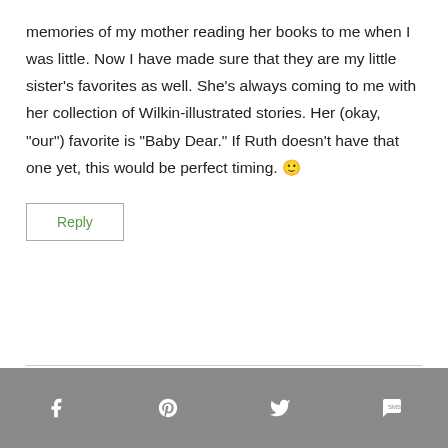memories of my mother reading her books to me when I was little. Now I have made sure that they are my little sister’s favorites as well. She’s always coming to me with her collection of Wilkin-illustrated stories. Her (okay, “our”) favorite is “Baby Dear.” If Ruth doesn’t have that one yet, this would be perfect timing. 🙂
Reply
[Figure (other): Social sharing footer bar with icons for Facebook, Pinterest, Twitter, and SMS/messaging]